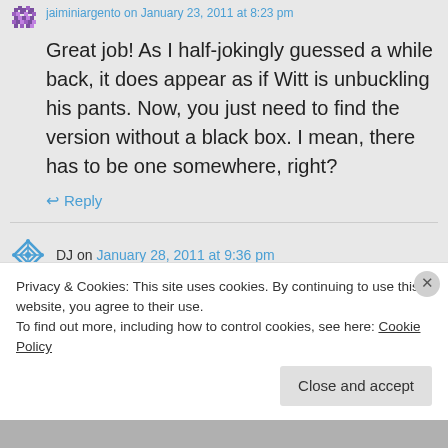[username] on [date] at [time]
Great job! As I half-jokingly guessed a while back, it does appear as if Witt is unbuckling his pants. Now, you just need to find the version without a black box. I mean, there has to be one somewhere, right?
↩ Reply
DJ on January 28, 2011 at 9:36 pm
Privacy & Cookies: This site uses cookies. By continuing to use this website, you agree to their use.
To find out more, including how to control cookies, see here: Cookie Policy
Close and accept